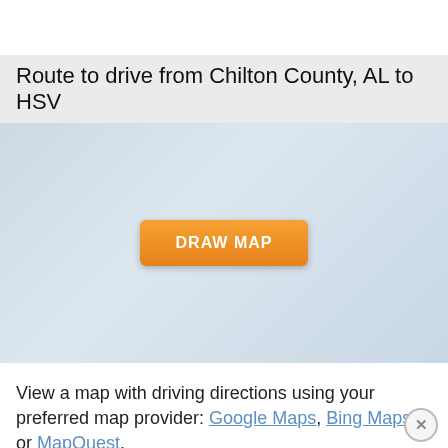Route to drive from Chilton County, AL to HSV
[Figure (map): Empty map area with a light blue-grey gradient background and an orange 'DRAW MAP' button in the center]
View a map with driving directions using your preferred map provider: Google Maps, Bing Maps, or MapQuest.